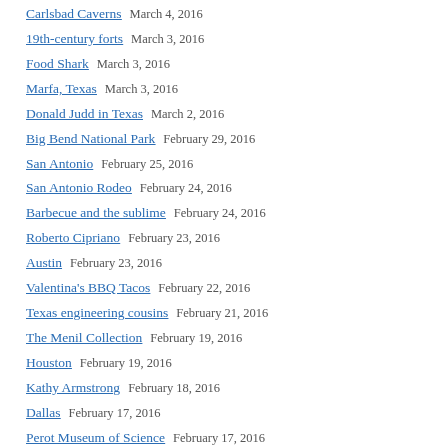Carlsbad Caverns · March 4, 2016
19th-century forts · March 3, 2016
Food Shark · March 3, 2016
Marfa, Texas · March 3, 2016
Donald Judd in Texas · March 2, 2016
Big Bend National Park · February 29, 2016
San Antonio · February 25, 2016
San Antonio Rodeo · February 24, 2016
Barbecue and the sublime · February 24, 2016
Roberto Cipriano · February 23, 2016
Austin · February 23, 2016
Valentina's BBQ Tacos · February 22, 2016
Texas engineering cousins · February 21, 2016
The Menil Collection · February 19, 2016
Houston · February 19, 2016
Kathy Armstrong · February 18, 2016
Dallas · February 17, 2016
Perot Museum of Science · February 17, 2016
The Kimbell · February 16, 2016